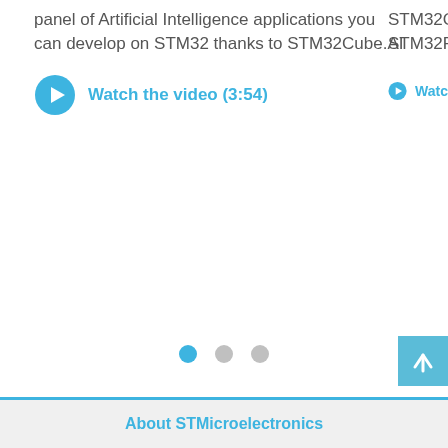panel of Artificial Intelligence applications you can develop on STM32 thanks to STM32Cube.AI
Watch the video (3:54)
STM32C STM32F
Watc
[Figure (infographic): Carousel pagination dots: one blue active dot and two grey inactive dots]
[Figure (other): Back to top button with upward arrow icon, light blue background]
About STMicroelectronics